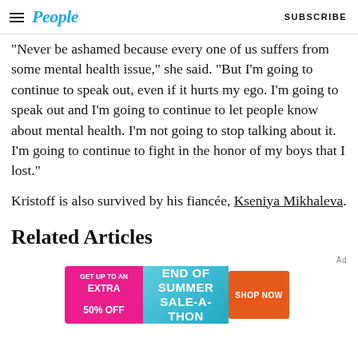People | SUBSCRIBE
'Never be ashamed because every one of us suffers from some mental health issue,' she said. 'But I'm going to continue to speak out, even if it hurts my ego. I'm going to speak out and I'm going to continue to let people know about mental health. I'm not going to stop talking about it. I'm going to continue to fight in the honor of my boys that I lost.'
Kristoff is also survived by his fiancée, Kseniya Mikhaleva.
Related Articles
[Figure (other): Advertisement banner: GET UP TO AN EXTRA 50% OFF | END OF SUMMER SALE-A-THON | SHOP NOW]